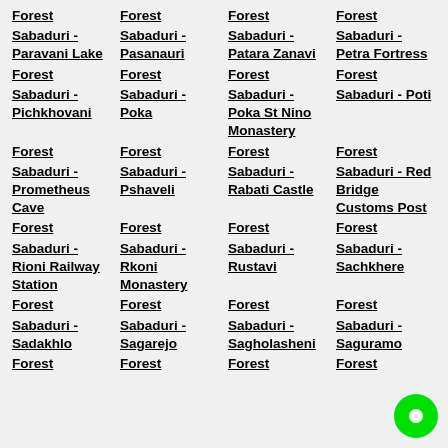Forest Sabaduri - Paravani Lake
Forest Sabaduri - Pasanauri
Forest Sabaduri - Patara Zanavi
Forest Sabaduri - Petra Fortress
Forest Sabaduri - Pichkhovani
Forest Sabaduri - Poka
Forest Sabaduri - Poka St Nino Monastery
Forest Sabaduri - Poti
Forest Sabaduri - Prometheus Cave
Forest Sabaduri - Pshaveli
Forest Sabaduri - Rabati Castle
Forest Sabaduri - Red Bridge Customs Post
Forest Sabaduri - Rioni Railway Station
Forest Sabaduri - Rkoni Monastery
Forest Sabaduri - Rustavi
Forest Sabaduri - Sachkhere
Forest Sabaduri - Sadakhlo
Forest Sabaduri - Sagarejo
Forest Sabaduri - Sagholasheni
Forest Sabaduri - Saguramo
Forest
Forest